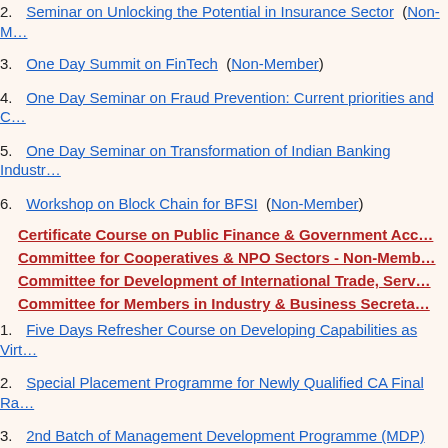2. Seminar on Unlocking the Potential in Insurance Sector (Non-Member)
3. One Day Summit on FinTech (Non-Member)
4. One Day Seminar on Fraud Prevention: Current priorities and C…
5. One Day Seminar on Transformation of Indian Banking Industr…
6. Workshop on Block Chain for BFSI (Non-Member)
Certificate Course on Public Finance & Government Acc…
Committee for Cooperatives & NPO Sectors - Non-Memb…
Committee for Development of International Trade, Serv…
Committee for Members in Industry & Business Secreta…
1. Five Days Refresher Course on Developing Capabilities as Virt…
2. Special Placement Programme for Newly Qualified CA Final Ra…
3. 2nd Batch of Management Development Programme (MDP) fo…